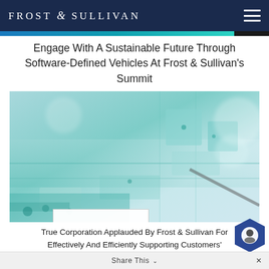FROST & SULLIVAN
Engage With A Sustainable Future Through Software-Defined Vehicles At Frost & Sullivan's Summit
[Figure (photo): Photo of circuit board / technology components in teal and blue tones, with an overlaid white card reading '2022 Award Recipient' in bold dark navy and grey text.]
True Corporation Applauded By Frost & Sullivan For Effectively And Efficiently Supporting Customers' Increasing Data Needs With Its Telecom Solutions